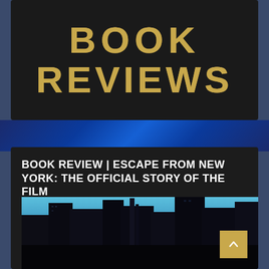BOOK REVIEWS
BOOK REVIEW | ESCAPE FROM NEW YORK: THE OFFICIAL STORY OF THE FILM
[Figure (illustration): Dark cityscape illustration showing tall skyscrapers against a blue sky, reminiscent of a dystopian New York scene from Escape from New York film]